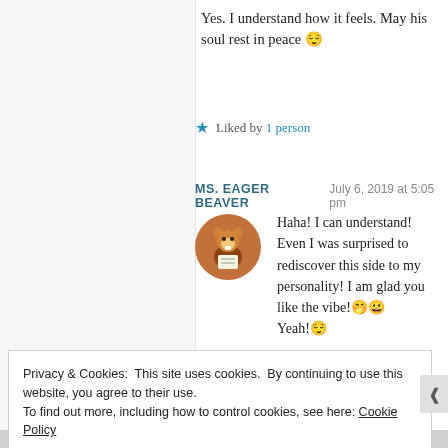Yes. I understand how it feels. May his soul rest in peace 😌
★ Liked by 1 person
MS. EAGER BEAVER   July 6, 2019 at 5:05 pm
Haha! I can understand! Even I was surprised to rediscover this side to my personality! I am glad you like the vibe!🤭😁
Yeah!😌
Privacy & Cookies: This site uses cookies. By continuing to use this website, you agree to their use.
To find out more, including how to control cookies, see here: Cookie Policy
Close and accept